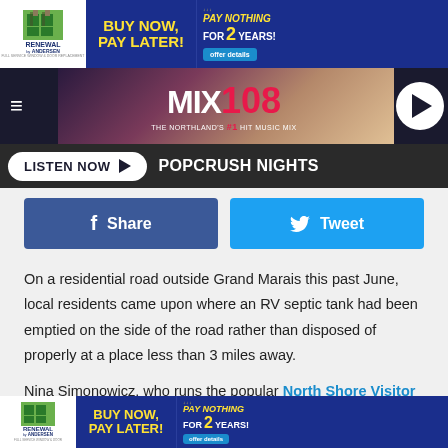[Figure (screenshot): Renewal by Andersen advertisement banner: BUY NOW, PAY LATER! PAY NOTHING FOR 2 YEARS! with offer details button]
[Figure (logo): MIX 108 radio station logo - THE NORTHLAND'S #1 HIT MUSIC MIX, with hamburger menu and play button]
LISTEN NOW ▶  POPCRUSH NIGHTS
[Figure (screenshot): Facebook Share button (blue) and Twitter Tweet button (light blue)]
On a residential road outside Grand Marais this past June, local residents came upon where an RV septic tank had been emptied on the side of the road rather than disposed of properly at a place less than 3 miles away.
Nina Simonowicz, who runs the popular North Shore Visitor site and Facebook page, decided to speak out after
[Figure (screenshot): Renewal by Andersen advertisement banner at bottom: BUY NOW, PAY LATER! PAY NOTHING FOR 2 YEARS! with offer details button]